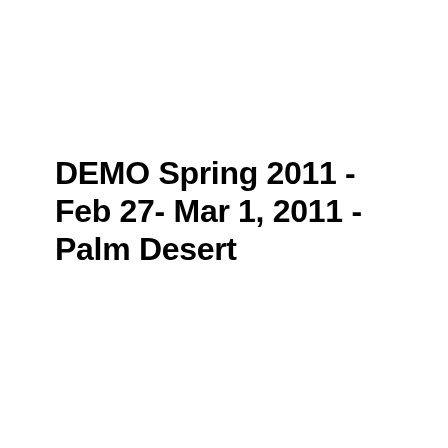DEMO Spring 2011 - Feb 27- Mar 1, 2011 - Palm Desert